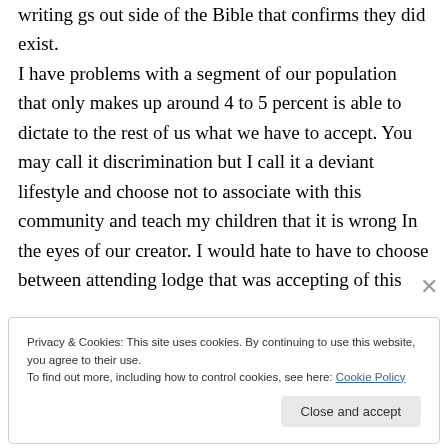writings outside of the Bible that confirms they did exist. I have problems with a segment of our population that only makes up around 4 to 5 percent is able to dictate to the rest of us what we have to accept. You may call it discrimination but I call it a deviant lifestyle and choose not to associate with this community and teach my children that it is wrong In the eyes of our creator. I would hate to have to choose between attending lodge that was accepting of this
Privacy & Cookies: This site uses cookies. By continuing to use this website, you agree to their use.
To find out more, including how to control cookies, see here: Cookie Policy